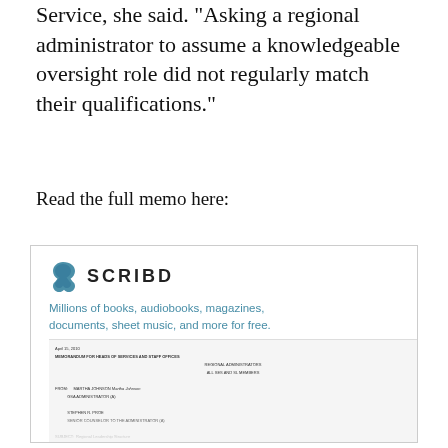Service, she said. "Asking a regional administrator to assume a knowledgeable oversight role did not regularly match their qualifications."
Read the full memo here:
[Figure (screenshot): Scribd embedded document preview showing a memo dated April 15, 2010 from Martha Johnson, GSA Administrator, and Stephen R. Proe, Senior Counselor to the Administrator, to Heads of Services and Staff Offices, Regional Administrators, and All SES and SL Members. Subject: Regional Leadership Structure. The memo discusses the role of Regional Administrators and changes to their responsibilities.]